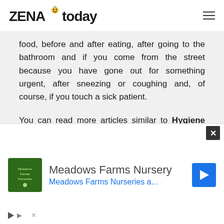ZENA today
food, before and after eating, after going to the bathroom and if you come from the street because you have gone out for something urgent, after sneezing or coughing and, of course, if you touch a sick patient.

You can read more articles similar to Hygiene measures at home if someone in the family has coronavirus, in the category of child hygiene on site.
[Figure (other): Social share buttons: Facebook, Twitter, email/share, Pinterest, orange share button]
[Figure (other): Advertisement banner: Meadows Farms Nursery with logo, navigation icon, play button and close X button]